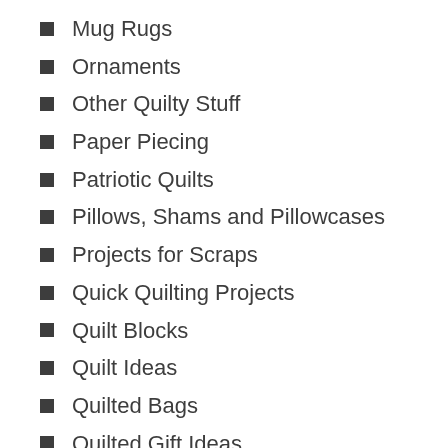Mug Rugs
Ornaments
Other Quilty Stuff
Paper Piecing
Patriotic Quilts
Pillows, Shams and Pillowcases
Projects for Scraps
Quick Quilting Projects
Quilt Blocks
Quilt Ideas
Quilted Bags
Quilted Gift Ideas
Quilting How-To
Quilts and More with Crochet
Quilts Around The Home
Quilts for Babies and Kids
Quilts to Admire (No Patterns?)